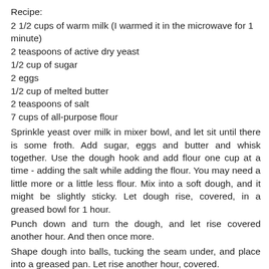Recipe:
2 1/2 cups of warm milk (I warmed it in the microwave for 1 minute)
2 teaspoons of active dry yeast
1/2 cup of sugar
2 eggs
1/2 cup of melted butter
2 teaspoons of salt
7 cups of all-purpose flour
Sprinkle yeast over milk in mixer bowl, and let sit until there is some froth. Add sugar, eggs and butter and whisk together. Use the dough hook and add flour one cup at a time - adding the salt while adding the flour. You may need a little more or a little less flour. Mix into a soft dough, and it might be slightly sticky. Let dough rise, covered, in a greased bowl for 1 hour.
Punch down and turn the dough, and let rise covered another hour. And then once more.
Shape dough into balls, tucking the seam under, and place into a greased pan. Let rise another hour, covered.
Heat over to 385 degrees. Bake on middle rack for 15 to 20 minutes, until the tops are nice and brown.